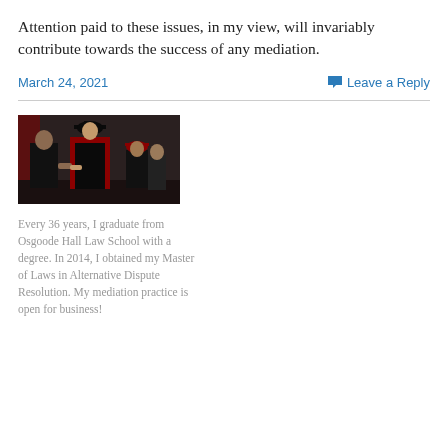Attention paid to these issues, in my view, will invariably contribute towards the success of any mediation.
March 24, 2021
Leave a Reply
[Figure (photo): Graduation ceremony photo showing a person in academic regalia (black gown with red trim) shaking hands or receiving a diploma, with others in academic dress in the background.]
Every 36 years, I graduate from Osgoode Hall Law School with a degree. In 2014, I obtained my Master of Laws in Alternative Dispute Resolution. My mediation practice is open for business!